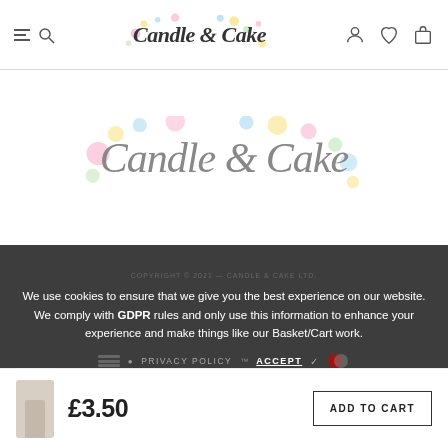Candle & Cake — navigation header with menu, search, account, wishlist, basket icons
[Figure (logo): Candle & Cake logo — cursive text with colourful dots (pink, yellow, blue, green) in background, centred on white area]
We use cookies to ensure that we give you the best experience on our website. We comply with GDPR rules and only use this information to enhance your experience and make things like our Basket/Cart work.
PRIVACY POLICY   ACCEPT ✓
£3.50
ADD TO CART